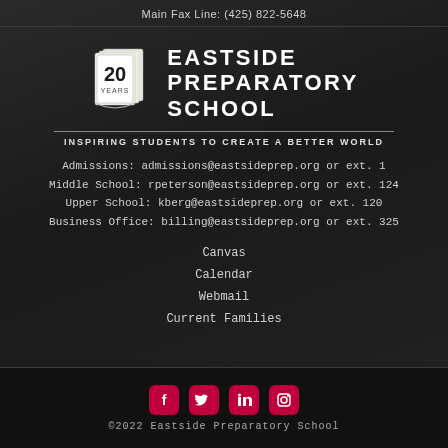Main Fax Line: (425) 822-5648
[Figure (logo): Eastside Preparatory School 20 Years logo with open book icon and school name text]
INSPIRING STUDENTS TO CREATE A BETTER WORLD
Admissions: admissions@eastsideprep.org or ext. 1
Middle School: rpeterson@eastsideprep.org or ext. 124
Upper School: kberg@eastsideprep.org or ext. 120
Business Office: billing@eastsideprep.org or ext. 325
Canvas
Calendar
Webmail
Current Families
[Figure (logo): Social media icons: Facebook, Twitter, LinkedIn, Instagram — all in red rounded square buttons]
©2022 Eastside Preparatory School